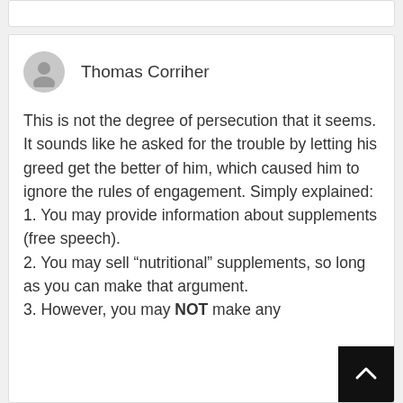Thomas Corriher
This is not the degree of persecution that it seems. It sounds like he asked for the trouble by letting his greed get the better of him, which caused him to ignore the rules of engagement. Simply explained:
1. You may provide information about supplements (free speech).
2. You may sell “nutritional” supplements, so long as you can make that argument.
3. However, you may NOT make any